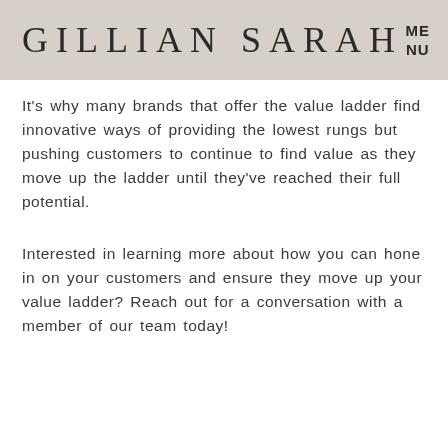GILLIAN SARAH  MENU
It's why many brands that offer the value ladder find innovative ways of providing the lowest rungs but pushing customers to continue to find value as they move up the ladder until they've reached their full potential.
Interested in learning more about how you can hone in on your customers and ensure they move up your value ladder? Reach out for a conversation with a member of our team today!